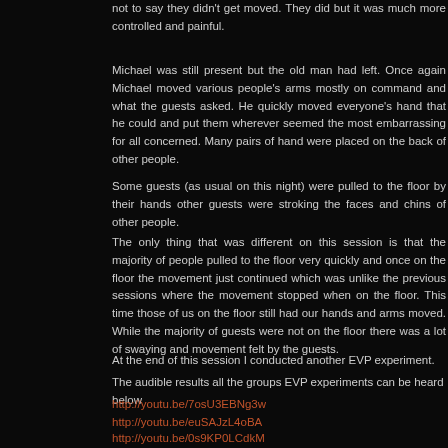not to say they didn't get moved. They did but it was much more controlled and painful.
Michael was still present but the old man had left. Once again Michael moved various people's arms mostly on command and what the guests asked. He quickly moved everyone's hand that he could and put them wherever seemed the most embarrassing for all concerned. Many pairs of hand were placed on the back of other people.
Some guests (as usual on this night) were pulled to the floor by their hands other guests were stroking the faces and chins of other people.
The only thing that was different on this session is that the majority of people pulled to the floor very quickly and once on the floor the movement just continued which was unlike the previous sessions where the movement stopped when on the floor. This time those of us on the floor still had our hands and arms moved. While the majority of guests were not on the floor there was a lot of swaying and movement felt by the guests.
At the end of this session I conducted another EVP experiment.
The audible results all the groups EVP experiments can be heard below
http://youtu.be/7osU3EBNg3w
http://youtu.be/euSAJzL4oBA
http://youtu.be/0s9KP0LCdkM
http://youtu.be/5o3VU_pY7c4
http://youtu.be/Dn34ukZmsPQ
There is also an edited video of all the earlier sessions which can be seen...